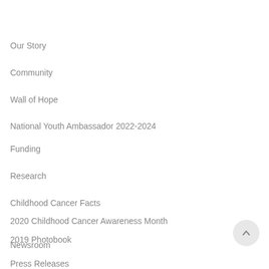Our Story
Community
Wall of Hope
National Youth Ambassador 2022-2024
Funding
Research
Childhood Cancer Facts
2020 Childhood Cancer Awareness Month
2019 Photobook
Newsroom
Press Releases